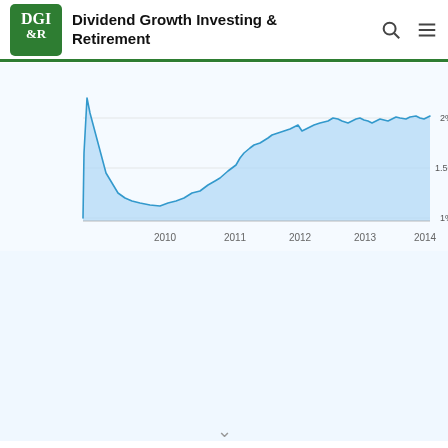Dividend Growth Investing & Retirement
[Figure (continuous-plot): Area chart showing dividend yield trend from 2009 to early 2014. The yield starts high (spike near top ~2.5%), drops sharply, then gradually rises from around 1% in 2010 to approximately 2% by 2013-2014. The area under the line is filled with light blue. Y-axis shows 1%, 1.50%, 2%. X-axis shows years 2010, 2011, 2012, 2013, 2014.]